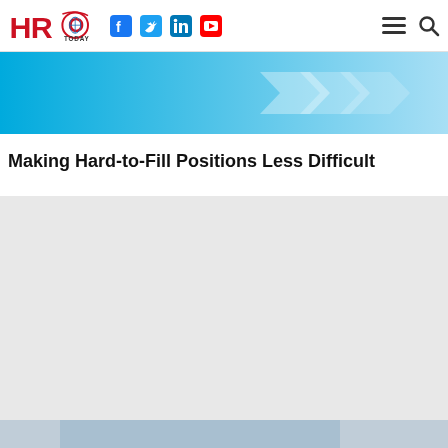HRO TODAY — navigation bar with social icons (Facebook, Twitter, LinkedIn, YouTube), hamburger menu, and search
[Figure (illustration): Light blue banner with white dashed arrow shapes on a gradient blue background]
Making Hard-to-Fill Positions Less Difficult
[Figure (photo): Light gray placeholder area, bottom partially showing a photo]